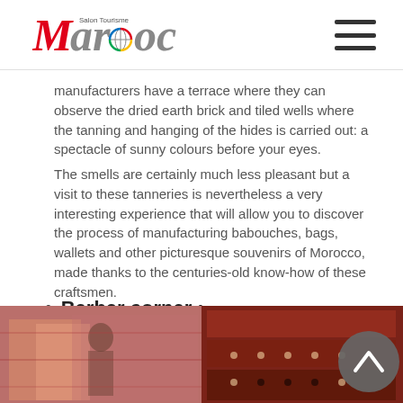Salon Tourisme Maroc
manufacturers have a terrace where they can observe the dried earth brick and tiled wells where the tanning and hanging of the hides is carried out: a spectacle of sunny colours before your eyes.
The smells are certainly much less pleasant but a visit to these tanneries is nevertheless a very interesting experience that will allow you to discover the process of manufacturing babouches, bags, wallets and other picturesque souvenirs of Morocco, made thanks to the centuries-old know-how of these craftsmen.
Berber corner :
[Figure (photo): Two photos of colorful Moroccan textiles and carpets displayed at a market stall, with a circular scroll-up button overlay on the right]